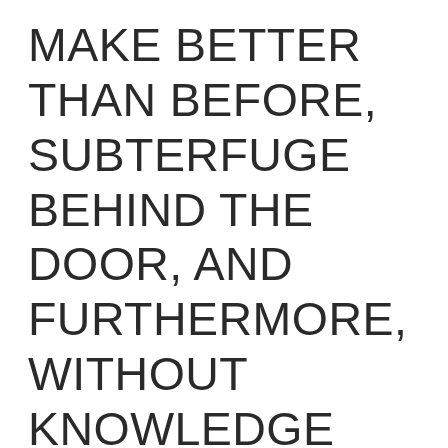MAKE BETTER THAN BEFORE, SUBTERFUGE BEHIND THE DOOR, AND FURTHERMORE, WITHOUT KNOWLEDGE THERE, THIS IS THE CRESCENT CHP, IN CONDUCT MOST IGNOMINIOUSLY MADE FOR ALL THAT IS OUT OF